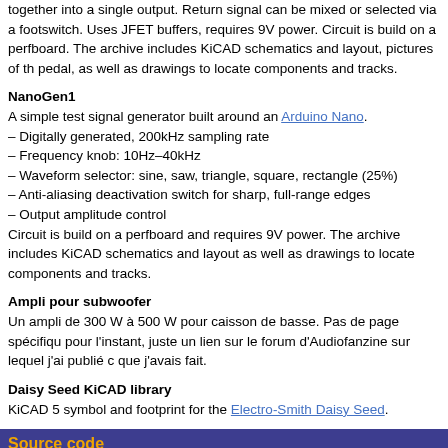together into a single output. Return signal can be mixed or selected via a footswitch. Uses JFET buffers, requires 9V power. Circuit is build on a perfboard. The archive includes KiCAD schematics and layout, pictures of the pedal, as well as drawings to locate components and tracks.
NanoGen1
A simple test signal generator built around an Arduino Nano.
– Digitally generated, 200kHz sampling rate
– Frequency knob: 10Hz–40kHz
– Waveform selector: sine, saw, triangle, square, rectangle (25%)
– Anti-aliasing deactivation switch for sharp, full-range edges
– Output amplitude control
Circuit is build on a perfboard and requires 9V power. The archive includes KiCAD schematics and layout as well as drawings to locate components and tracks.
Ampli pour subwoofer
Un ampli de 300 W à 500 W pour caisson de basse. Pas de page spécifique pour l'instant, juste un lien sur le forum d'Audiofanzine sur lequel j'ai publié c que j'avais fait.
Daisy Seed KiCAD library
KiCAD 5 symbol and footprint for the Electro-Smith Daisy Seed.
Source code
Everything in this section is free of use, unless something different is speci that you quote me if you are reusing my work in your own projects. Thank yo